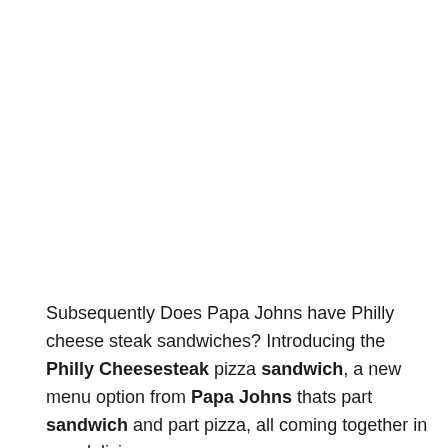Subsequently Does Papa Johns have Philly cheese steak sandwiches? Introducing the Philly Cheesesteak pizza sandwich, a new menu option from Papa Johns thats part sandwich and part pizza, all coming together in one delicious .